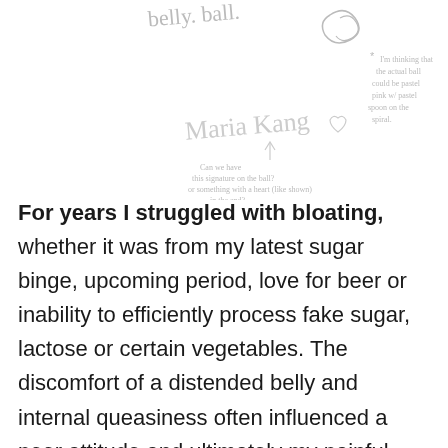[Figure (illustration): Handwritten sketch area showing cursive text 'belly. ball.' with a spiral doodle, the signature 'Maria Kang' with a heart, an arrow pointing up, and handwritten notes reading '# I'm thinking that the actual ball could be pastel pink w/ pastel spoon on the spiral.' and 'Can we have this signature on the ball? or something with a heart (like shown) in the end?']
For years I struggled with bloating, whether it was from my latest sugar binge, upcoming period, love for beer or inability to efficiently process fake sugar, lactose or certain vegetables. The discomfort of a distended belly and internal queasiness often influenced a poor attitude and ultimately my painful day. The only relief I had was when I laid flat on my